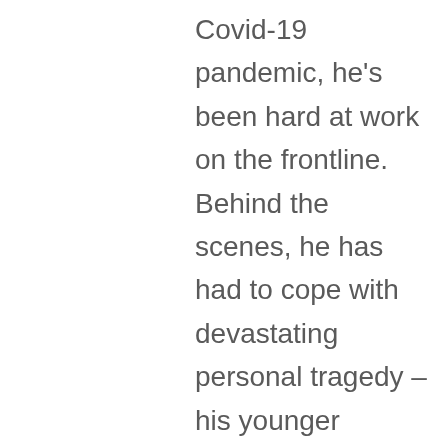Covid-19 pandemic, he's been hard at work on the frontline. Behind the scenes, he has had to cope with devastating personal tragedy – his younger brother, Llyr, died by suicide in July 2020. Alex's openness about his own mental health has been a comfort for many, and in February he was appointed the UK's Youth Mental Health Ambassador.  This week marks the publication of his first book, Live Well Every Day. Listen here.